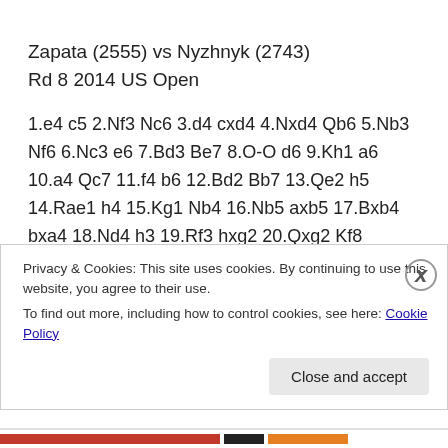Zapata (2555) vs Nyzhnyk (2743)
Rd 8 2014 US Open
1.e4 c5 2.Nf3 Nc6 3.d4 cxd4 4.Nxd4 Qb6 5.Nb3 Nf6 6.Nc3 e6 7.Bd3 Be7 8.O-O d6 9.Kh1 a6 10.a4 Qc7 11.f4 b6 12.Bd2 Bb7 13.Qe2 h5 14.Rae1 h4 15.Kg1 Nb4 16.Nb5 axb5 17.Bxb4 bxa4 18.Nd4 h3 19.Rf3 hxg2 20.Qxg2 Kf8 21.Rh3 Rg8 22.c3 Nd7 23.Bb1 Nc5 24.Qf2 Qd7 25.Rh7 e5 26.Nf5 Bxe4
Privacy & Cookies: This site uses cookies. By continuing to use this website, you agree to their use.
To find out more, including how to control cookies, see here: Cookie Policy